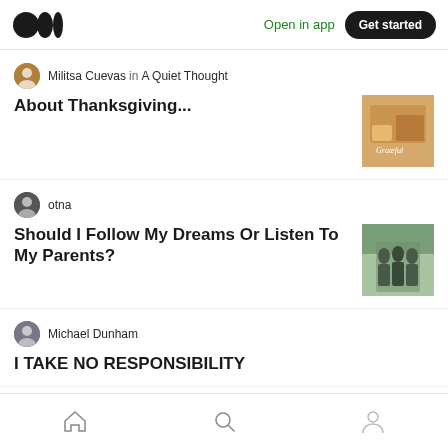Medium logo | Open in app | Get started
Militsa Cuevas in A Quiet Thought
About Thanksgiving...
otna
Should I Follow My Dreams Or Listen To My Parents?
Michael Dunham
I TAKE NO RESPONSIBILITY
smithwillas
Holiday Party Ideas if You Actually Want Guests to Have Fun
Home | Search | Profile